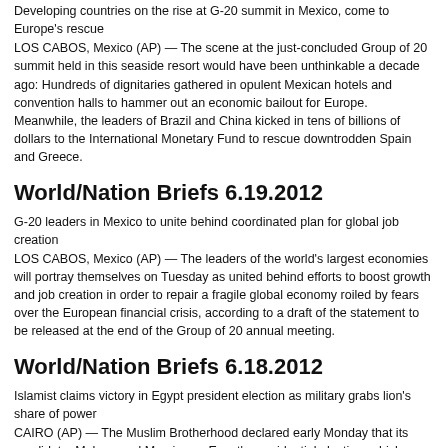Developing countries on the rise at G-20 summit in Mexico, come to Europe's rescue
LOS CABOS, Mexico (AP) — The scene at the just-concluded Group of 20 summit held in this seaside resort would have been unthinkable a decade ago: Hundreds of dignitaries gathered in opulent Mexican hotels and convention halls to hammer out an economic bailout for Europe. Meanwhile, the leaders of Brazil and China kicked in tens of billions of dollars to the International Monetary Fund to rescue downtrodden Spain and Greece.
World/Nation Briefs 6.19.2012
G-20 leaders in Mexico to unite behind coordinated plan for global job creation
LOS CABOS, Mexico (AP) — The leaders of the world's largest economies will portray themselves on Tuesday as united behind efforts to boost growth and job creation in order to repair a fragile global economy roiled by fears over the European financial crisis, according to a draft of the statement to be released at the end of the Group of 20 annual meeting.
World/Nation Briefs 6.18.2012
Islamist claims victory in Egypt president election as military grabs lion's share of power
CAIRO (AP) — The Muslim Brotherhood declared early Monday that its candidate, Mohammed Morsi, won Egypt's presidential election, which would be the first victory of an Islamist as head of state in the stunning wave of protests demanding democracy that swept the Middle East the past year. But the military handed itself the lion's share of power over the new president, sharpening the possibility of